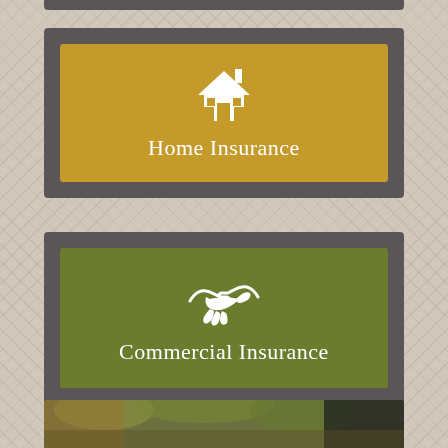[Figure (infographic): Home Insurance card: gold/amber background with white house icon and text 'Home Insurance']
[Figure (infographic): Commercial Insurance card: olive green background with white handshake icon and text 'Commercial Insurance']
[Figure (photo): Bottom photo strip showing outdoor scene with trees and 'HART' text overlay in white serif font]